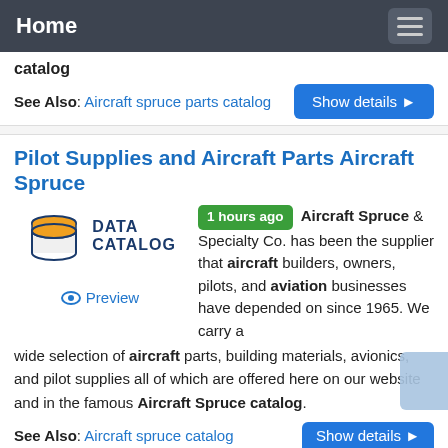Home
catalog
See Also: Aircraft spruce parts catalog
Pilot Supplies and Aircraft Parts Aircraft Spruce
[Figure (logo): Data Catalog logo with orange cylinder icon and dark blue text]
1 hours ago Aircraft Spruce & Specialty Co. has been the supplier that aircraft builders, owners, pilots, and aviation businesses have depended on since 1965. We carry a wide selection of aircraft parts, building materials, avionics, and pilot supplies all of which are offered here on our website and in the famous Aircraft Spruce catalog.
See Also: Aircraft spruce catalog